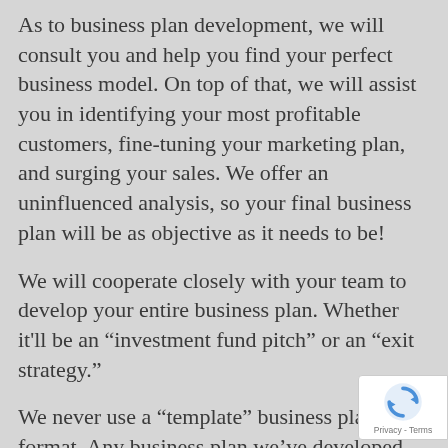As to business plan development, we will consult you and help you find your perfect business model. On top of that, we will assist you in identifying your most profitable customers, fine-tuning your marketing plan, and surging your sales. We offer an uninfluenced analysis, so your final business plan will be as objective as it needs to be!
We will cooperate closely with your team to develop your entire business plan. Whether it'll be an “investment fund pitch” or an “exit strategy.”
We never use a “template” business plan format. Any business plan we’ve developed was individually crafted to meet each specific situation or niche. Unlike many of our
[Figure (logo): reCAPTCHA badge with spinning arrows logo icon and Privacy - Terms text]